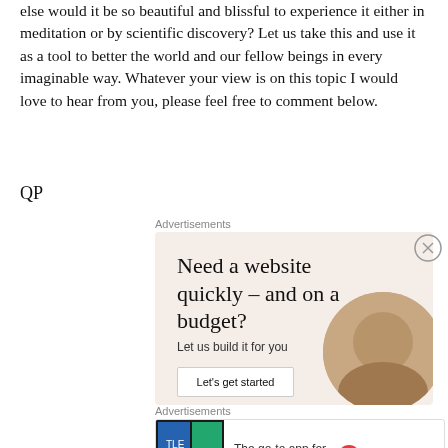else would it be so beautiful and blissful to experience it either in meditation or by scientific discovery? Let us take this and use it as a tool to better the world and our fellow beings in every imaginable way. Whatever your view is on this topic I would love to hear from you, please feel free to comment below.
QP
Advertisements
[Figure (other): Advertisement for a website building service. Headline: 'Need a website quickly – and on a budget?' Subtext: 'Let us build it for you'. Button: 'Let's get started'. Shows a decorative circular image of a person.]
Advertisements
[Figure (other): Advertisement for Pocket Casts. Text: 'The go-to app for podcast lovers.' Pocket Casts logo shown.]